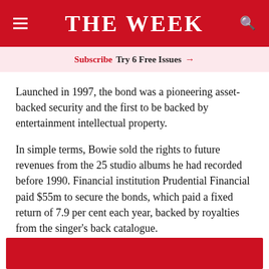THE WEEK
Subscribe  Try 6 Free Issues  →
Launched in 1997, the bond was a pioneering asset-backed security and the first to be backed by entertainment intellectual property.
In simple terms, Bowie sold the rights to future revenues from the 25 studio albums he had recorded before 1990. Financial institution Prudential Financial paid $55m to secure the bonds, which paid a fixed return of 7.9 per cent each year, backed by royalties from the singer's back catalogue.
[Figure (other): Red decorative bar at the bottom of the page]